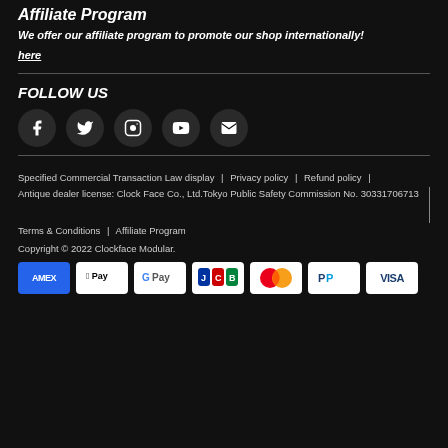Affiliate Program
We offer our affiliate program to promote our shop internationally!
here
FOLLOW US
[Figure (infographic): Row of 5 social media icon circles: Facebook, Twitter, Instagram, YouTube, Email]
Specified Commercial Transaction Law display | Privacy policy | Refund policy |
Antique dealer license: Clock Face Co., Ltd.Tokyo Public Safety Commission No. 30331706713
Terms & Conditions | Affiliate Program
Copyright © 2022 Clockface Modular.
[Figure (infographic): Payment method logos: AMEX, Apple Pay, G Pay, JCB, Mastercard, PayPal, VISA]